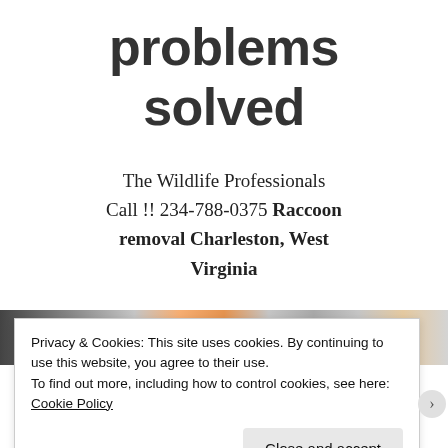problems solved
The Wildlife Professionals
Call !! 234-788-0375 Raccoon removal Charleston, West Virginia
[Figure (photo): Strip of wildlife/raccoon images partially visible]
Privacy & Cookies: This site uses cookies. By continuing to use this website, you agree to their use.
To find out more, including how to control cookies, see here: Cookie Policy
Close and accept